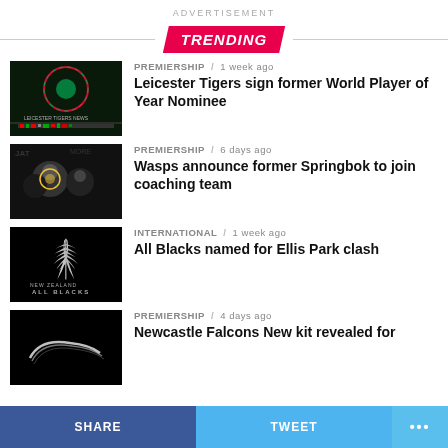ADVERTISEMENT
TRENDING
PREMIERSHIP / 1 week ago
Leicester Tigers sign former World Player of Year Nominee
PREMIERSHIP / 6 days ago
Wasps announce former Springbok to join coaching team
INTERNATIONAL / 1 week ago
All Blacks named for Ellis Park clash
PREMIERSHIP / 4 days ago
Newcastle Falcons New kit revealed for
SHARE   TWEET   ...